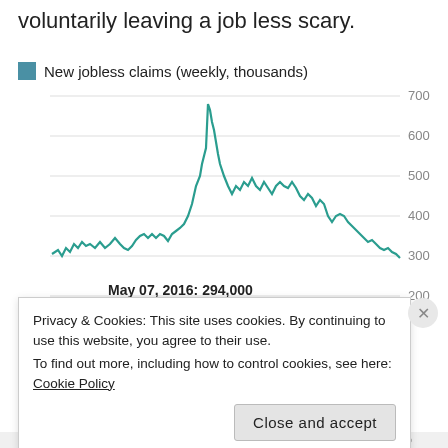voluntarily leaving a job less scary.
[Figure (line-chart): Line chart showing new weekly jobless claims in thousands from roughly 2000 to 2016. Chart shows a large spike around 2009 reaching approximately 670 thousand, then declining to around 294 thousand by May 07, 2016.]
May 07, 2016: 294,000
Privacy & Cookies: This site uses cookies. By continuing to use this website, you agree to their use.
To find out more, including how to control cookies, see here: Cookie Policy